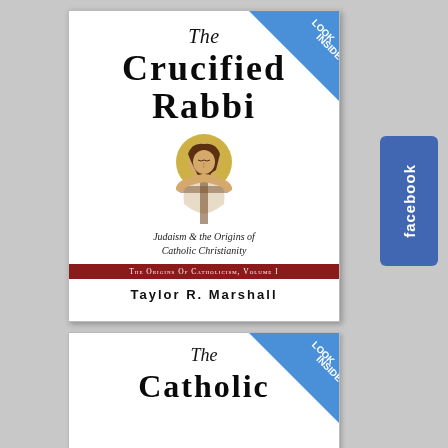[Figure (photo): Book cover for 'The Crucified Rabbi: Judaism & the Origins of Catholic Christianity' by Taylor R. Marshall, Volume I of The Origins of Catholicism series. White cover with large serif title text, an illustration of Christ on the cross (medieval icon style), italic subtitle, dark red series bar, and author name in bold caps. Top-right corner has a blue 'LOOK INSIDE' diagonal ribbon badge.]
[Figure (logo): Facebook button/logo in blue rectangle on the right side of the page.]
[Figure (photo): Partial book cover visible at bottom: 'The Catholic...' with 'LOOK INSIDE' ribbon, same series style.]